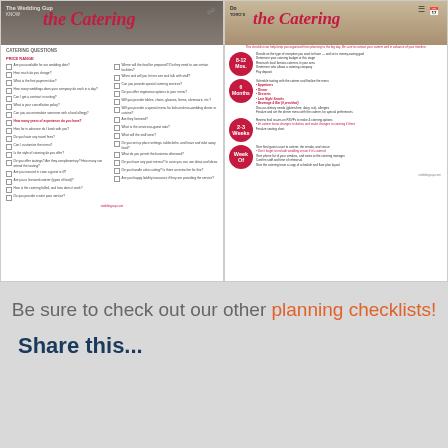[Figure (screenshot): Left document: Wedding catering checklist with questions and checkboxes, titled 'The Catering' in cursive red text, with The Wedding Gup Know logo]
[Figure (screenshot): Right document: Wedding catering timeline checklist with circular red badges showing timeframes (8-12 Months, 6 Months, 2-3 Weeks, Week of)]
Be sure to check out our other planning checklists!
Share this...